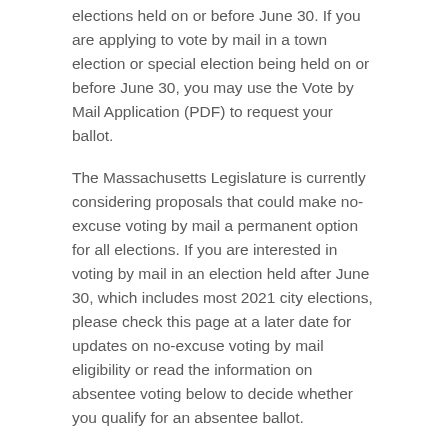elections held on or before June 30. If you are applying to vote by mail in a town election or special election being held on or before June 30, you may use the Vote by Mail Application (PDF) to request your ballot.
The Massachusetts Legislature is currently considering proposals that could make no-excuse voting by mail a permanent option for all elections. If you are interested in voting by mail in an election held after June 30, which includes most 2021 city elections, please check this page at a later date for updates on no-excuse voting by mail eligibility or read the information on absentee voting below to decide whether you qualify for an absentee ballot.
ABSENTEE BALLOT ELIGIBILITY
ABSENTEE vs. EARLY VOTING